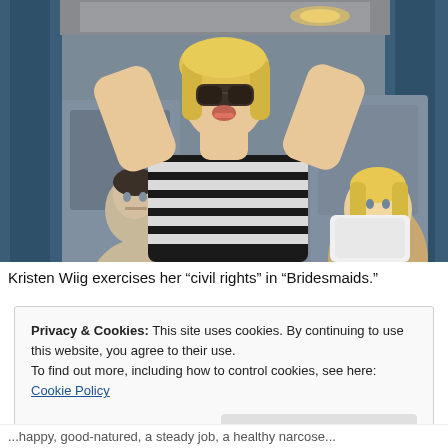[Figure (photo): A woman with blonde hair and sunglasses stands in the aisle of an airplane with her arms raised, wearing a black and white striped top. Other passengers are visible in the background and to the right. Blue curtains separate cabin sections.]
Kristen Wiig exercises her “civil rights” in “Bridesmaids.”
Privacy & Cookies: This site uses cookies. By continuing to use this website, you agree to their use.
To find out more, including how to control cookies, see here: Cookie Policy
...happy, good-natured, a steady job, a healthy narcose...